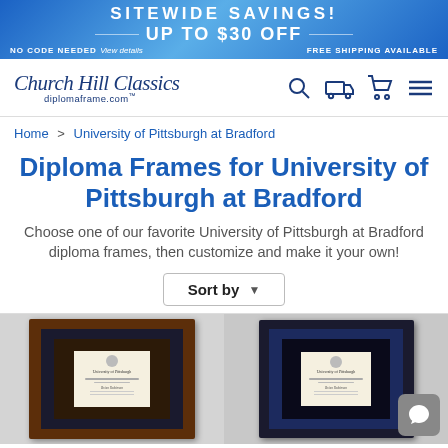SITEWIDE SAVINGS! UP TO $30 OFF — NO CODE NEEDED View details FREE SHIPPING AVAILABLE
[Figure (logo): Church Hill Classics / diplomaframe.com logo with navigation icons (search, shipping, cart, menu)]
Home > University of Pittsburgh at Bradford
Diploma Frames for University of Pittsburgh at Bradford
Choose one of our favorite University of Pittsburgh at Bradford diploma frames, then customize and make it your own!
Sort by ▾
[Figure (photo): Two diploma frames for University of Pittsburgh at Bradford — left: walnut wood frame with dark blue mat; right: dark navy frame with blue mat and seal visible]
[Figure (illustration): Chat bubble icon in gray square at bottom right]